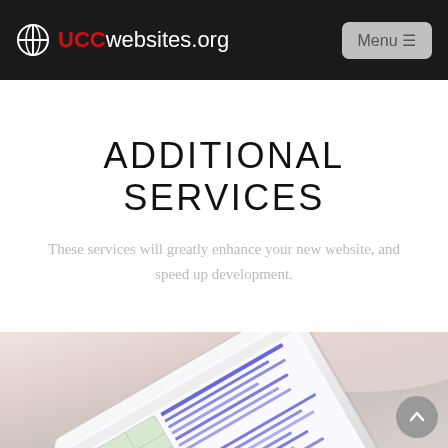UCCwebsites.org — Menu
ADDITIONAL SERVICES
These services will greatly enhance your new website, and speed up development.
[Figure (photo): A tablet device showing a web page with map and text content, lying on a wooden surface.]